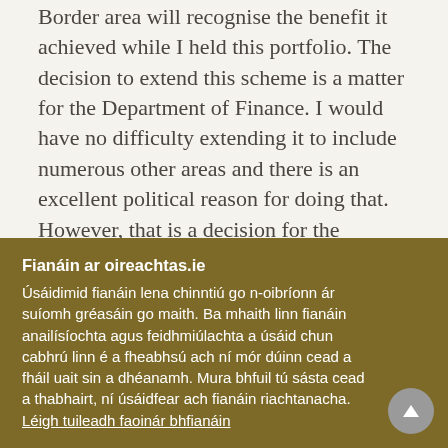Border area will recognise the benefit it achieved while I held this portfolio. The decision to extend this scheme is a matter for the Department of Finance. I would have no difficulty extending it to include numerous other areas and there is an excellent political reason for doing that. However, that is a decision for the Department of Finance, but the Deputy can rest assured the Border will be well and truly looked after.
Fianáin ar oireachtas.ie
Úsáidimid fianáin lena chinntiú go n-oibríonn ár suíomh gréasáin go maith. Ba mhaith linn fianáin anailísíochta agus feidhmiúlachta a úsáid chun cabhrú linn é a fheabhsú ach ní mór dúinn cead a fháil uait sin a dhéanamh. Mura bhfuil tú sásta cead a thabhairt, ní úsáidfear ach fianáin riachtanacha. Léigh tuileadh faoinár bhfianáin
Socraigh sainroghanna fianán
Glac leis na fianáin go léir